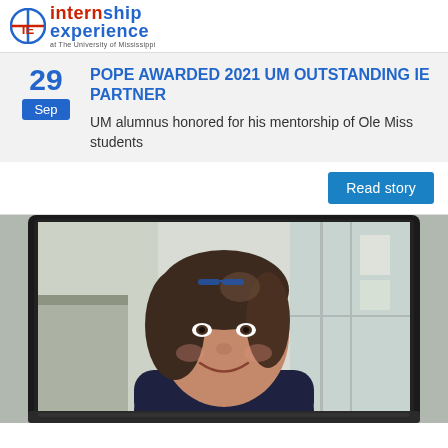internship experience at The University of Mississippi
POPE AWARDED 2021 UM OUTSTANDING IE PARTNER
29
Sep
UM alumnus honored for his mentorship of Ole Miss students
Read story
[Figure (photo): Woman smiling on a laptop screen video call, dark hair with glasses on head, wearing dark top, home office background]